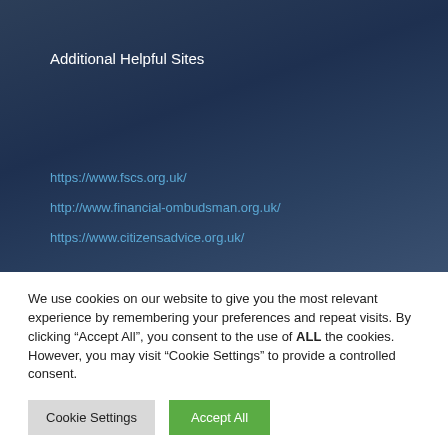Additional Helpful Sites
https://www.fscs.org.uk/
http://www.financial-ombudsman.org.uk/
https://www.citizensadvice.org.uk/
We use cookies on our website to give you the most relevant experience by remembering your preferences and repeat visits. By clicking “Accept All”, you consent to the use of ALL the cookies. However, you may visit “Cookie Settings” to provide a controlled consent.
Cookie Settings
Accept All